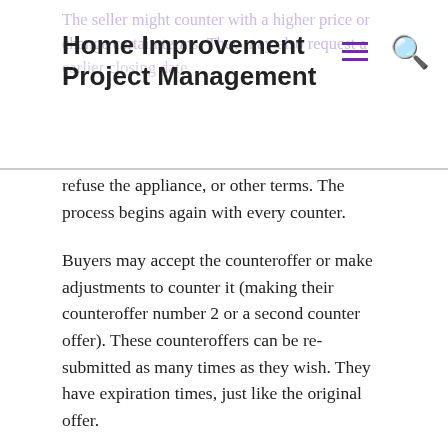Home Improvement Project Management
The seller might counter with a higher price or change certain terms. They may also request a earlier closing date, refuse the appliance, or other terms. The process begins again with every counter.
Buyers may accept the counteroffer or make adjustments to counter it (making their counteroffer number 2 or a second counter offer). These counteroffers can be re-submitted as many times as they wish. They have expiration times, just like the original offer.
An offer can be counter-offered, but it is not a rejection. It is a good thing that both the seller and buyer continue to negotiate. It is important to continue the counter-offers because if anyone stops responding without